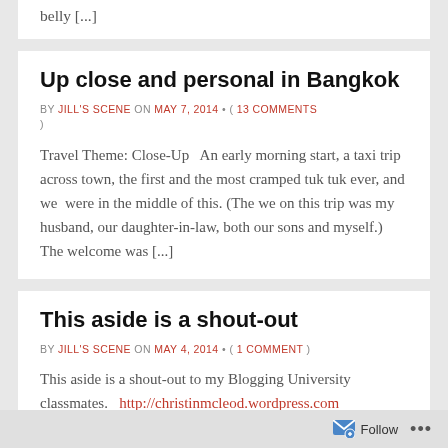belly [...]
Up close and personal in Bangkok
BY JILL'S SCENE ON MAY 7, 2014 • ( 13 COMMENTS )
Travel Theme: Close-Up  An early morning start, a taxi trip across town, the first and the most cramped tuk tuk ever, and we  were in the middle of this. (The we on this trip was my husband, our daughter-in-law, both our sons and myself.) The welcome was [...]
This aside is a shout-out
BY JILL'S SCENE ON MAY 4, 2014 • ( 1 COMMENT )
This aside is a shout-out to my Blogging University classmates.   http://christinmcleod.wordpress.com